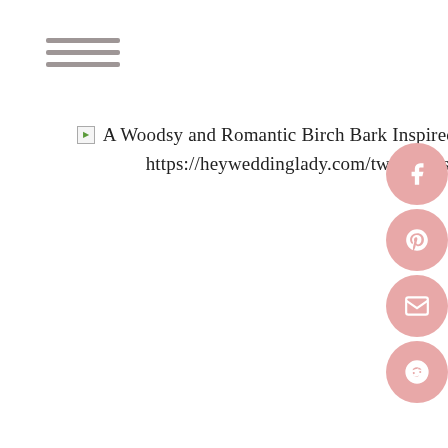[Figure (infographic): Hamburger menu icon with three horizontal lines]
A Woodsy and Romantic Birch Bark Inspired Wedding Cake | Sur La Lune Photography | See More! https://heyweddinglady.com/twenties-style-meets-boho-glam-wedding-by-sur-la-lune/
[Figure (infographic): Social sharing buttons: Facebook, Pinterest, Email, Reddit — pink circular buttons on right side]